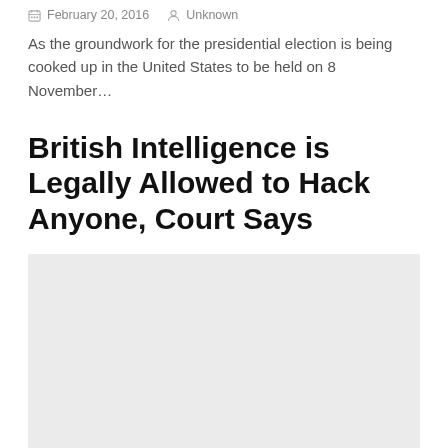February 20, 2016   Unknown
As the groundwork for the presidential election is being cooked up in the United States to be held on 8 November…
British Intelligence is Legally Allowed to Hack Anyone, Court Says
[Figure (photo): Light grey image placeholder rectangle]
February 13, 2016   Swati Khandelwal